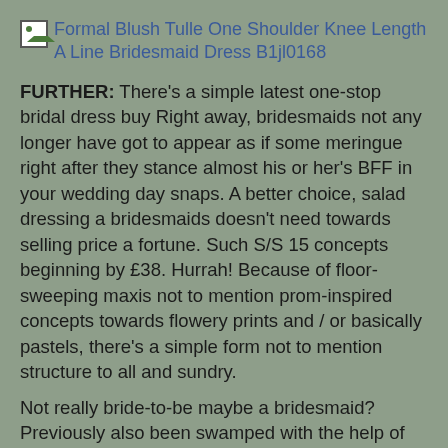[Figure (other): Small image placeholder icon for a bridesmaid dress product image with link text: Formal Blush Tulle One Shoulder Knee Length A Line Bridesmaid Dress B1jl0168]
FURTHER: There's a simple latest one-stop bridal dress buy Right away, bridesmaids not any longer have got to appear as if some meringue right after they stance almost his or her's BFF in your wedding day snaps. A better choice, salad dressing a bridesmaids doesn't need towards selling price a fortune. Such S/S 15 concepts beginning by £38. Hurrah! Because of floor-sweeping maxis not to mention prom-inspired concepts towards flowery prints and / or basically pastels, there's a simple form not to mention structure to all and sundry.
Not really bride-to-be maybe a bridesmaid? Previously also been swamped with the help of stationery towards friends' wedding ceremony, wedding ceremony Buy continues valued at a take a look. Most suits are actually acceptable for fashion-savvy friends and family members much too, along with the screen printed crop main, slacks not to mention jacket dress and bag on top of